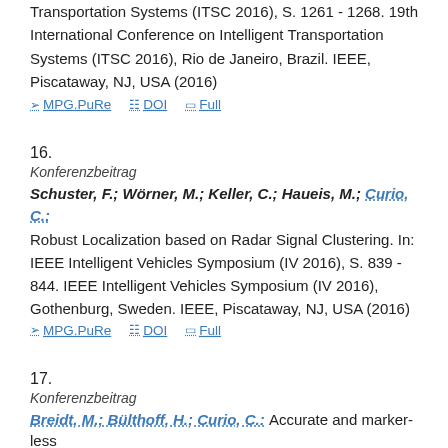Transportation Systems (ITSC 2016), S. 1261 - 1268. 19th International Conference on Intelligent Transportation Systems (ITSC 2016), Rio de Janeiro, Brazil. IEEE, Piscataway, NJ, USA (2016)
MPG.PuRe   DOI   Full
16.
Konferenzbeitrag
Schuster, F.; Wörner, M.; Keller, C.; Haueis, M.; Curio, C.: Robust Localization based on Radar Signal Clustering. In: IEEE Intelligent Vehicles Symposium (IV 2016), S. 839 - 844. IEEE Intelligent Vehicles Symposium (IV 2016), Gothenburg, Sweden. IEEE, Piscataway, NJ, USA (2016)
MPG.PuRe   DOI   Full
17.
Konferenzbeitrag
Breidt, M.; Bülthoff, H.; Curio, C.: Accurate and marker-less...